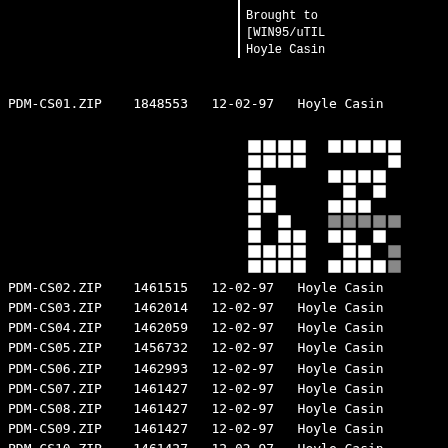Brought to
[WIN95/uTIL
Hoyle Casin
| Filename | Size | Date | Description |
| --- | --- | --- | --- |
| PDM-CS01.ZIP | 1848553 | 12-02-97 | Hoyle Casin |
| PDM-CS02.ZIP | 1461515 | 12-02-97 | Hoyle Casin |
| PDM-CS03.ZIP | 1462014 | 12-02-97 | Hoyle Casin |
| PDM-CS04.ZIP | 1462059 | 12-02-97 | Hoyle Casin |
| PDM-CS05.ZIP | 1456732 | 12-02-97 | Hoyle Casin |
| PDM-CS06.ZIP | 1462993 | 12-02-97 | Hoyle Casin |
| PDM-CS07.ZIP | 1461427 | 12-02-97 | Hoyle Casin |
| PDM-CS08.ZIP | 1461427 | 12-02-97 | Hoyle Casin |
| PDM-CS09.ZIP | 1461427 | 12-02-97 | Hoyle Casin |
| PDM-CS10.ZIP | 1461427 | 12-02-97 | Hoyle Casin |
| PDM-CS11.ZIP | 1461427 | 12-02-97 | Hoyle Casin |
| PDM-CS12.ZIP | 1461427 | 12-02-97 | Hoyle Casin |
[Figure (illustration): Pixelated logo/icon graphic in black and white on dark background]